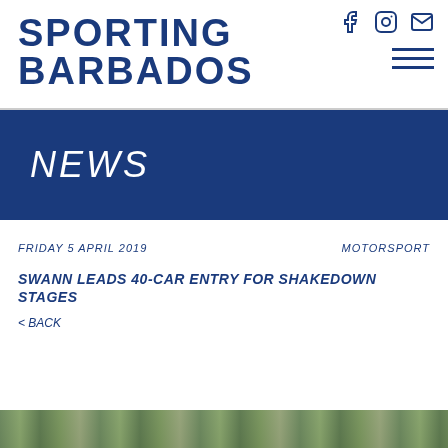SPORTING BARBADOS
NEWS
FRIDAY 5 APRIL 2019
MOTORSPORT
SWANN LEADS 40-CAR ENTRY FOR SHAKEDOWN STAGES
< BACK
[Figure (photo): Partial bottom strip showing outdoor/nature scene at bottom of page]